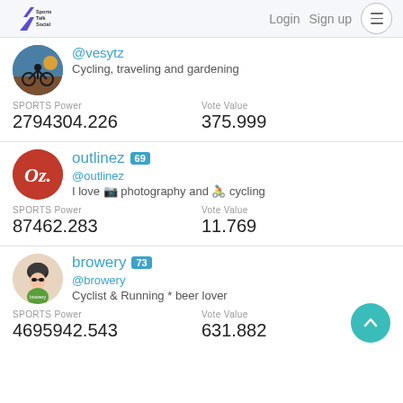Sports Talk Social — Login  Sign up
@vesytz
Cycling, traveling and gardening
SPORTS Power: 2794304.226
Vote Value: 375.999
outlinez 69
@outlinez
I love 📷 photography and 🚴 cycling
SPORTS Power: 87462.283
Vote Value: 11.769
browery 73
@browery
Cyclist & Running * beer lover
SPORTS Power: 4695942.543
Vote Value: 631.882